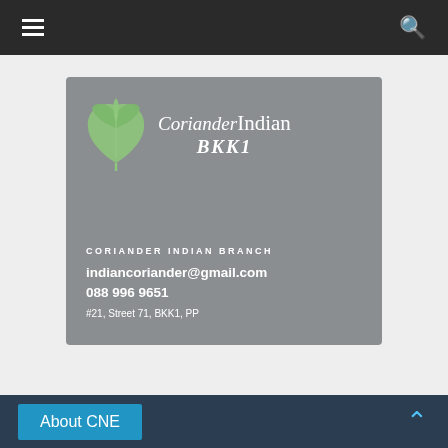Navigation bar with hamburger menu and search icon
[Figure (logo): Coriander Indian BKK1 restaurant business card/logo on grey background. Shows a green leaf illustration, the text 'CorianderIndian BKK1', followed by contact information: CORIANDER INDIAN BRANCH, indiancoriander@gmail.com, 088 996 9651, #21, Street 71, BKK1, PP]
About CNE